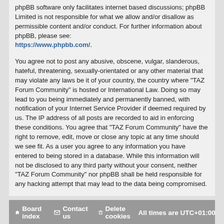phpBB software only facilitates internet based discussions; phpBB Limited is not responsible for what we allow and/or disallow as permissible content and/or conduct. For further information about phpBB, please see: https://www.phpbb.com/.
You agree not to post any abusive, obscene, vulgar, slanderous, hateful, threatening, sexually-orientated or any other material that may violate any laws be it of your country, the country where “TAZ Forum Community” is hosted or International Law. Doing so may lead to you being immediately and permanently banned, with notification of your Internet Service Provider if deemed required by us. The IP address of all posts are recorded to aid in enforcing these conditions. You agree that “TAZ Forum Community” have the right to remove, edit, move or close any topic at any time should we see fit. As a user you agree to any information you have entered to being stored in a database. While this information will not be disclosed to any third party without your consent, neither “TAZ Forum Community” nor phpBB shall be held responsible for any hacking attempt that may lead to the data being compromised.
Board index | Contact us | Delete cookies | All times are UTC+01:00
Powered by phpBB® Forum Software © phpBB Limited | Style Rock'n Roll ported 3.2 by phpBB Spain | Privacy | Terms